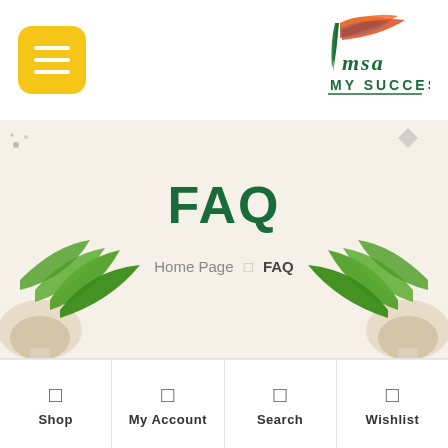[Figure (logo): MSA My Success logo with orange and green stylized leaves, handwritten MSA script and MY SUCCESS text below]
FAQ
Home Page  FAQ
Welcome, how can we
Shop  My Account  Search  Wishlist